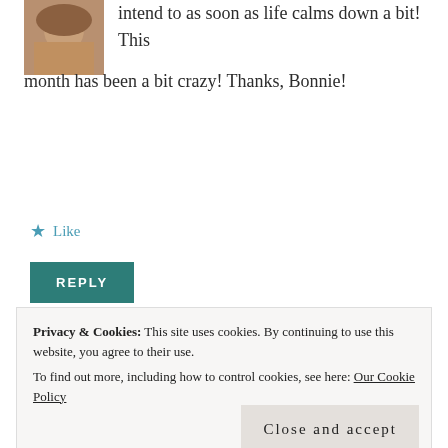[Figure (photo): Small avatar photo of a woman with long brown hair]
intend to as soon as life calms down a bit! This month has been a bit crazy! Thanks, Bonnie!
Like
REPLY
[Figure (illustration): Gray placeholder avatar with arch/person silhouette]
Bonnie Wilson Carlson says:
Privacy & Cookies: This site uses cookies. By continuing to use this website, you agree to their use. To find out more, including how to control cookies, see here: Our Cookie Policy
Close and accept
in Tuscaloosa, Alabama, and lived